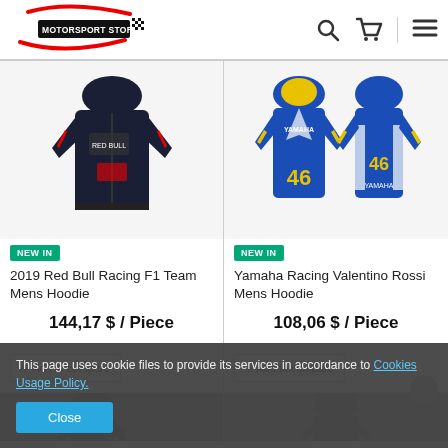[Figure (logo): Motorsport Store logo with racing car graphic and checkered flags]
[Figure (photo): 2019 Red Bull Racing F1 Team Mens Hoodie - dark navy jacket with team branding]
NEW IN
2019 Red Bull Racing F1 Team Mens Hoodie
144,17 $ / Piece
[Figure (photo): Yamaha Racing Valentino Rossi Mens Hoodie - two views of blue hoodie with number 46]
NEW IN
Yamaha Racing Valentino Rossi Mens Hoodie
108,06 $ / Piece
+ Add to compare
+ Add to compare
This page uses cookie files to provide its services in accordance to Cookies Usage Policy.
Close